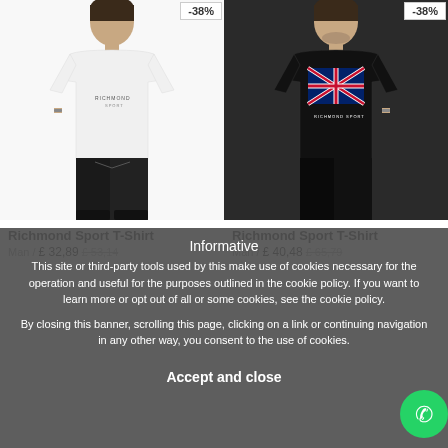[Figure (photo): Two product photos side by side. Left: man wearing white Richmond Sport t-shirt with -38% badge. Right: man wearing black Richmond Sport t-shirt with UK flag graphic and -38% badge.]
Richmond Sport T-Shirt
Man / £ 32,89 £ 53,14
Richmond Sport T-Shirt
Man / £ 40,48 £ 65,79
Informative
This site or third-party tools used by this make use of cookies necessary for the operation and useful for the purposes outlined in the cookie policy. If you want to learn more or opt out of all or some cookies, see the cookie policy.
By closing this banner, scrolling this page, clicking on a link or continuing navigation in any other way, you consent to the use of cookies.
Accept and close